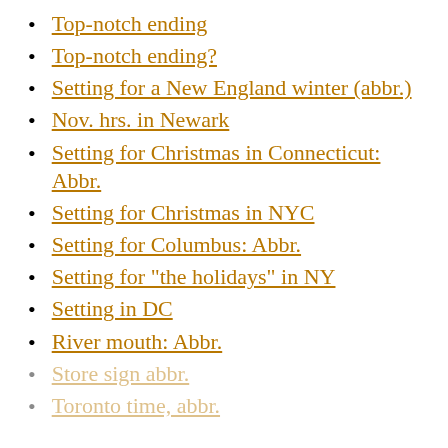Top-notch ending
Top-notch ending?
Setting for a New England winter (abbr.)
Nov. hrs. in Newark
Setting for Christmas in Connecticut: Abbr.
Setting for Christmas in NYC
Setting for Columbus: Abbr.
Setting for "the holidays" in NY
Setting in DC
River mouth: Abbr.
Store sign abbr.
Toronto time, abbr.